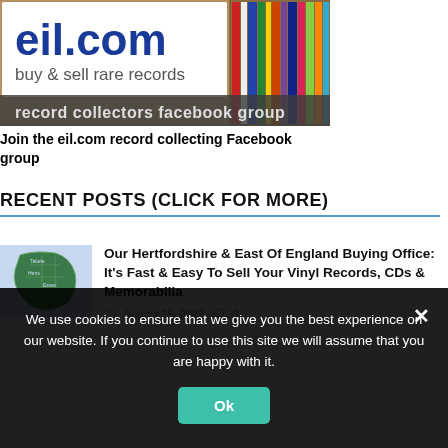[Figure (screenshot): eil.com banner advertisement showing 'buy & sell rare records' with record shelves and 'record collectors facebook group' overlay text]
Join the eil.com record collecting Facebook group
RECENT POSTS (CLICK FOR MORE)
[Figure (illustration): Map of Hertfordshire and East of England region shown in green]
Our Hertfordshire & East Of England Buying Office: It's Fast & Easy To Sell Your Vinyl Records, CDs & Memorabilia
August 25, 2022  0
We use cookies to ensure that we give you the best experience on our website. If you continue to use this site we will assume that you are happy with it.